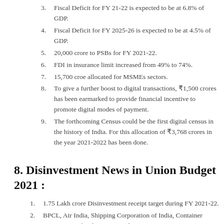3. Fiscal Deficit for FY 21-22 is expected to be at 6.8% of GDP.
4. Fiscal Deficit for FY 2025-26 is expected to be at 4.5% of GDP.
5. 20,000 crore to PSBs for FY 2021-22.
6. FDI in insurance limit increased from 49% to 74%.
7. 15,700 croe allocated for MSMEs sectors.
8. To give a further boost to digital transactions, ₹1,500 crores has been earmarked to provide financial incentive to promote digital modes of payment.
9. The forthcoming Census could be the first digital census in the history of India. For this allocation of ₹3,768 crores in the year 2021-2022 has been done.
8. Disinvestment News in Union Budget 2021 :
1. 1.75 Lakh crore Disinvestment receipt target during FY 2021-22.
2. BPCL, Air India, Shipping Corporation of India, Container Corporation of India, IDBI Bank, BEML, Pawan Hans, Neelachal Ispat Nigam and others will be disinvested by FY 2021-22.